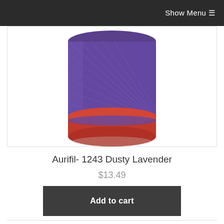Show Menu ☰
[Figure (photo): A spool of purple/dusty lavender thread on a red spool base, Aurifil brand thread]
Aurifil- 1243 Dusty Lavender
$13.49
Add to cart